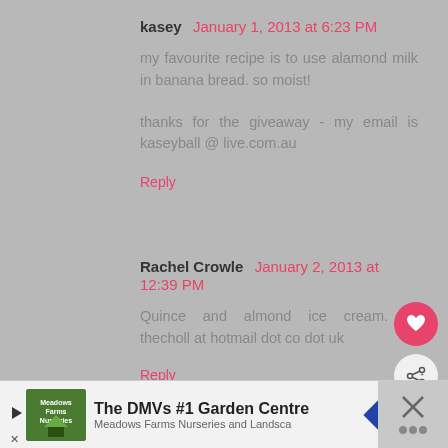kasey  January 1, 2013 at 6:23 PM
my favourite recipe is to use alamond milk in banana bread. so moist!
thanks for the giveaway - my email is kaseyball @ live.com.au
Reply
Rachel Crowle  January 2, 2013 at 12:39 PM
Quince and almond ice cream. thecholl at hotmail dot co dot uk
Reply
kath3333  January 2, 2013 at 2:49 PM
WHAT'S NEXT → Christmas Giftaway:....
The DMVs #1 Garden Centre
Meadows Farms Nurseries and Landsce